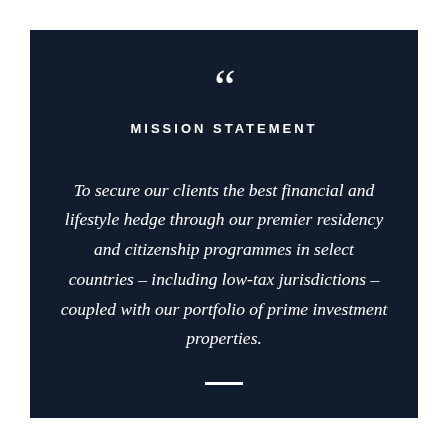MISSION STATEMENT
To secure our clients the best financial and lifestyle hedge through our premier residency and citizenship programmes in select countries – including low-tax jurisdictions – coupled with our portfolio of prime investment properties.